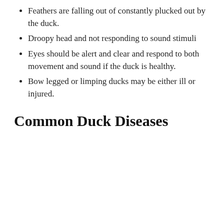Feathers are falling out of constantly plucked out by the duck.
Droopy head and not responding to sound stimuli
Eyes should be alert and clear and respond to both movement and sound if the duck is healthy.
Bow legged or limping ducks may be either ill or injured.
Common Duck Diseases